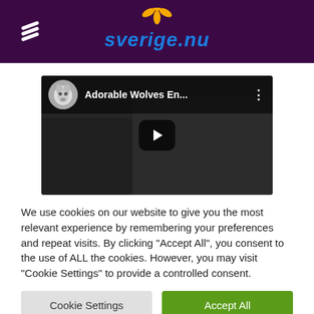[Figure (logo): Sverige.nu website header with purple background, hamburger menu icon on the left, and the Sverige.nu logo with a yellow flower icon in the center]
[Figure (screenshot): YouTube video thumbnail showing a wolf, titled 'Adorable Wolves En...' with a play button in the center]
We use cookies on our website to give you the most relevant experience by remembering your preferences and repeat visits. By clicking "Accept All", you consent to the use of ALL the cookies. However, you may visit "Cookie Settings" to provide a controlled consent.
Cookie Settings
Accept All